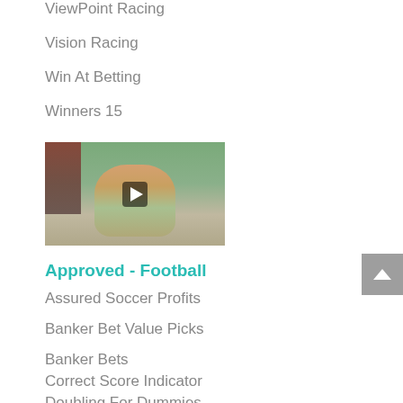ViewPoint Racing
Vision Racing
Win At Betting
Winners 15
[Figure (photo): Video thumbnail showing an older man with glasses wearing a plaid shirt, seated outdoors with flowers and greenery in the background, with a play button overlay]
Approved - Football
Assured Soccer Profits
Banker Bet Value Picks
Banker Bets
Correct Score Indicator
Doubling For Dummies